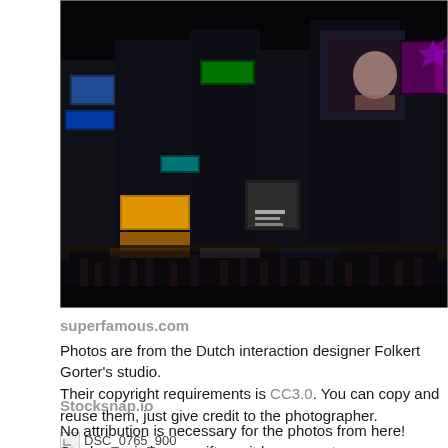[Figure (photo): Night cityscape of a busy urban street with neon signs and billboards, resembling Shinjuku, Tokyo at night. Crowds of people visible at street level, buildings lit with colorful advertisements.]
superfamous.com
Photos are from the Dutch interaction designer Folkert Gorter's studio.
Their copyright requirements is CC3.0. You can copy and reuse them, just give credit to the photographer.
DSC_0765_900
Stocksnap.io
No attribution is necessary for the photos from here! Stockspan.io is very nifty as it has a great